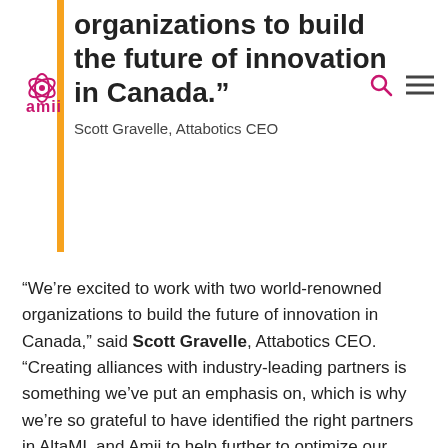Amii logo, search icon, menu icon
organizations to build the future of innovation in Canada.”
Scott Gravelle, Attabotics CEO
“We’re excited to work with two world-renowned organizations to build the future of innovation in Canada,” said Scott Gravelle, Attabotics CEO. “Creating alliances with industry-leading partners is something we’ve put an emphasis on, which is why we’re so grateful to have identified the right partners in AltaML and Amii to help further to optimize our platform as we revolutionize the supply chain.”
This collaboration draws on the strengths of three Alberta technology leaders to expand the data